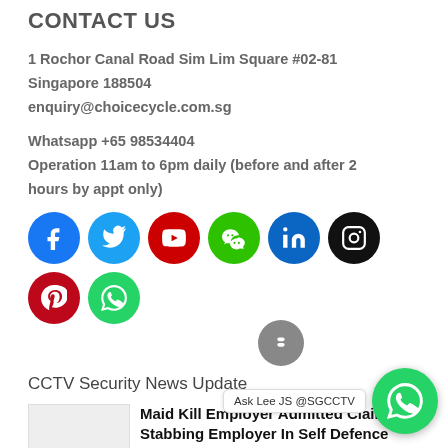CONTACT US
1 Rochor Canal Road Sim Lim Square #02-81
Singapore 188504
enquiry@choicecycle.com.sg
Whatsapp +65 98534404
Operation 11am to 6pm daily (before and after 2 hours by appt only)
[Figure (illustration): Row of social media icon circles: Facebook, Twitter, YouTube, WeChat, LinkedIn, Instagram, Pinterest, WhatsApp, and a gray Bloglovin icon below]
CCTV Security News Update
Maid Kill Employer Admitted Claimed Stabbing Employer In Self Defence Murder Singapore Home News
18/10/2020